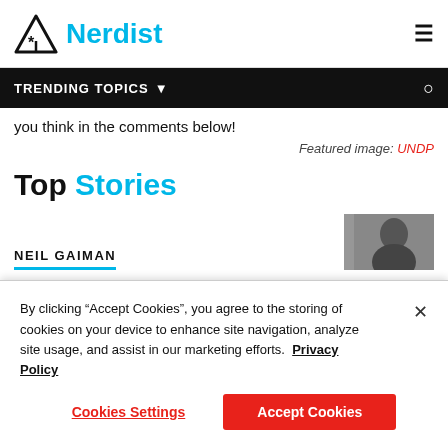Nerdist
TRENDING TOPICS
you think in the comments below!
Featured image: UNDP
Top Stories
NEIL GAIMAN
[Figure (photo): Partial thumbnail photo of a person, partially cropped]
By clicking "Accept Cookies", you agree to the storing of cookies on your device to enhance site navigation, analyze site usage, and assist in our marketing efforts.  Privacy Policy